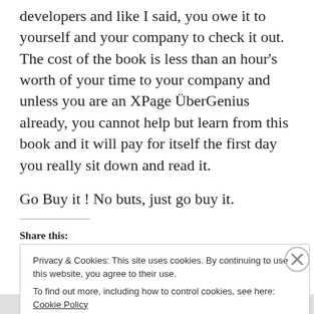developers and like I said, you owe it to yourself and your company to check it out. The cost of the book is less than an hour's worth of your time to your company and unless you are an XPage ÜberGenius already, you cannot help but learn from this book and it will pay for itself the first day you really sit down and read it.

Go Buy it ! No buts, just go buy it.
Share this:
Privacy & Cookies: This site uses cookies. By continuing to use this website, you agree to their use.
To find out more, including how to control cookies, see here: Cookie Policy